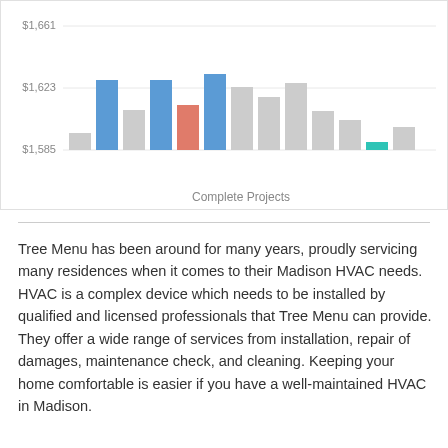[Figure (bar-chart): Complete Projects]
Tree Menu has been around for many years, proudly servicing many residences when it comes to their Madison HVAC needs. HVAC is a complex device which needs to be installed by qualified and licensed professionals that Tree Menu can provide. They offer a wide range of services from installation, repair of damages, maintenance check, and cleaning. Keeping your home comfortable is easier if you have a well-maintained HVAC in Madison.